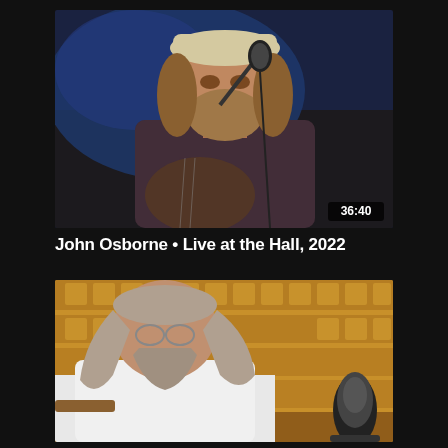[Figure (photo): Video thumbnail showing a bearded man with long hair wearing a baseball cap and patterned shirt, singing into a microphone at a live performance. Dark blue stage background. Duration badge showing 36:40 in bottom right corner.]
John Osborne • Live at the Hall, 2022
[Figure (photo): Second video thumbnail showing a man with long gray hair and beard wearing a white t-shirt, playing guitar and singing near a microphone in a concert hall with empty orange seats visible in the background.]